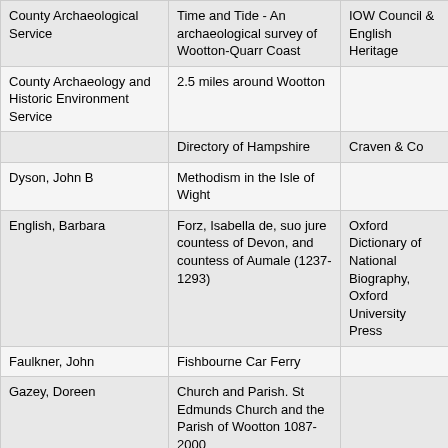| Author/Organization | Title | Publisher |
| --- | --- | --- |
| County Archaeological Service | Time and Tide - An archaeological survey of Wootton-Quarr Coast | IOW Council & English Heritage |
| County Archaeology and Historic Environment Service | 2.5 miles around Wootton |  |
|  | Directory of Hampshire | Craven & Co |
| Dyson, John B | Methodism in the Isle of Wight |  |
| English, Barbara | Forz, Isabella de, suo jure countess of Devon, and countess of Aumale (1237-1293) | Oxford Dictionary of National Biography, Oxford University Press |
| Faulkner, John | Fishbourne Car Ferry |  |
| Gazey, Doreen | Church and Parish. St Edmunds Church and the Parish of Wootton 1087-2000 |  |
| Genower, Rev. A H | Church of St Edmund, King & Martyr |  |
| Genower, Rev. A H | History of St Edmunds Church |  |
| Genower, Rev. A H | The Story of Wootton Church | Lightbrowns, Ryde |
| Gosden, Hilary | A History of Wootton Bridge. Part Five-Inns & Ale Houses | Burnt House Publishers, Rose ... |